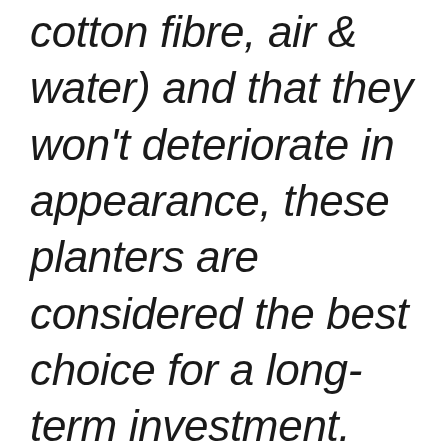cotton fibre, air & water) and that they won't deteriorate in appearance, these planters are considered the best choice for a long-term investment.